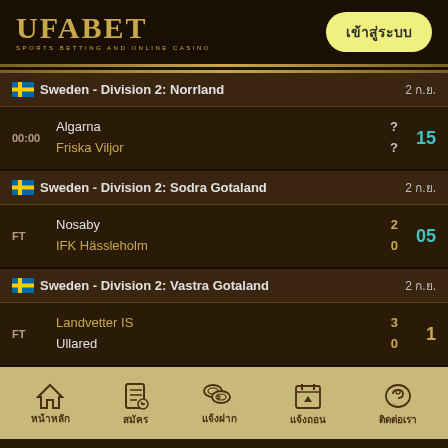[Figure (logo): UFABET logo with text 'SPORTS BETTING AND ONLINE CASINO']
เข้าสู่ระบบ
🇸🇪 Sweden - Division 2: Norrland   2 ก.ย.
00:00  Algarna ? / Friska Viljor ?  15
🇸🇪 Sweden - Division 2: Sodra Gotaland   2 ก.ย.
FT  Nosaby 2 / IFK Hässleholm 0  05
🇸🇪 Sweden - Division 2: Vastra Gotaland   2 ก.ย.
FT  Landvetter IS 3 / Ullared 0  1
หน้าหลัก  สมัคร  แจ้งฝาก  แจ้งถอน  ติดต่อเรา